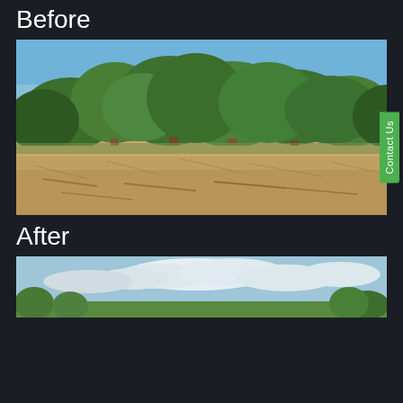Before
[Figure (photo): Before photo showing oak trees on dry scrubland with blue sky background. Ground is covered with dry brown grass/debris. A green 'Contact Us' tab appears on the right side.]
After
[Figure (photo): After photo showing the same area with partly cloudy blue sky, trees visible at the edges, partially visible at bottom of page.]